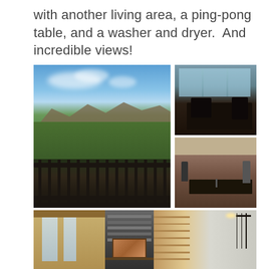with another living area, a ping-pong table, and a washer and dryer.  And incredible views!
[Figure (photo): Large landscape photo of mountain and forest view from a balcony with black iron railing; small interior dining room photo with large windows and mountain view; small photo of two people playing ping pong in a basement room; wide interior photo of cabin living area with stone fireplace, wood walls, and windows]